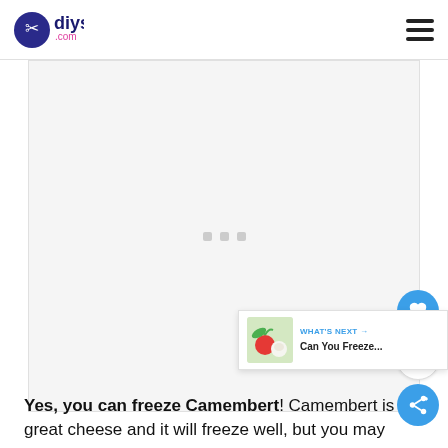diys.com
[Figure (other): Advertisement placeholder area with three small grey dots in the center]
Yes, you can freeze Camembert! Camembert is a great cheese and it will freeze well, but you may